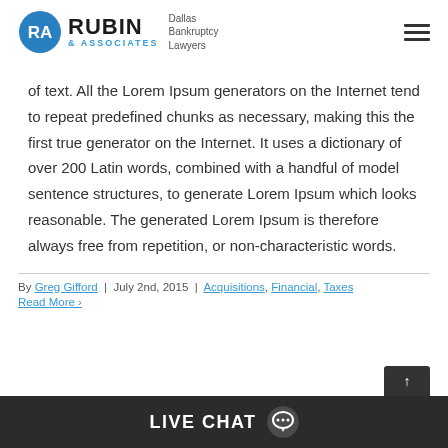Rubin & Associates | Dallas Bankruptcy Lawyers
of text. All the Lorem Ipsum generators on the Internet tend to repeat predefined chunks as necessary, making this the first true generator on the Internet. It uses a dictionary of over 200 Latin words, combined with a handful of model sentence structures, to generate Lorem Ipsum which looks reasonable. The generated Lorem Ipsum is therefore always free from repetition, or non-characteristic words.
By Greg Gifford | July 2nd, 2015 | Acquisitions, Financial, Taxes
Read More >
LIVE CHAT